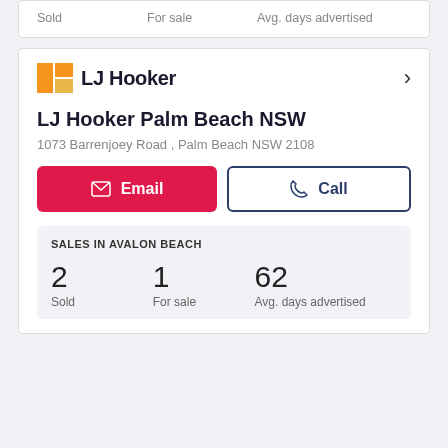Sold   For sale   Avg. days advertised
[Figure (logo): LJ Hooker logo with orange and yellow squares icon]
LJ Hooker Palm Beach NSW
1073 Barrenjoey Road , Palm Beach NSW 2108
Email   Call
SALES IN AVALON BEACH
2 Sold   1 For sale   62 Avg. days advertised